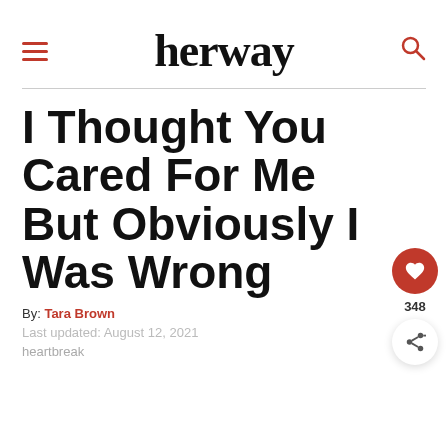herway
I Thought You Cared For Me But Obviously I Was Wrong
By: Tara Brown
Last updated: August 12, 2021
heartbreak